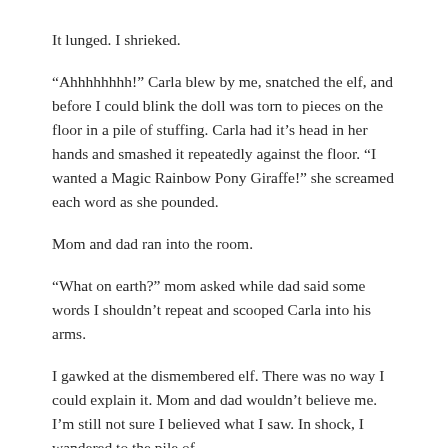It lunged. I shrieked.
“Ahhhhhhhh!” Carla blew by me, snatched the elf, and before I could blink the doll was torn to pieces on the floor in a pile of stuffing. Carla had it’s head in her hands and smashed it repeatedly against the floor. “I wanted a Magic Rainbow Pony Giraffe!” she screamed each word as she pounded.
Mom and dad ran into the room.
“What on earth?” mom asked while dad said some words I shouldn’t repeat and scooped Carla into his arms.
I gawked at the dismembered elf. There was no way I could explain it. Mom and dad wouldn’t believe me. I’m still not sure I believed what I saw. In shock, I wandered to the pile of